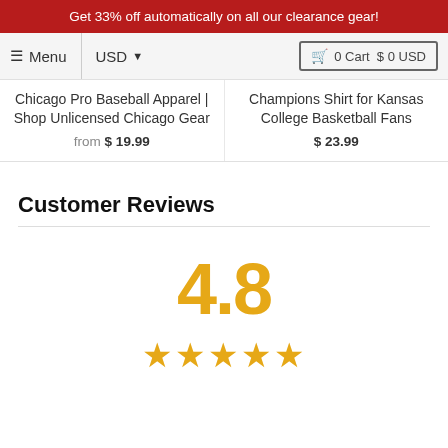Get 33% off automatically on all our clearance gear!
Menu | USD | 0 Cart $ 0 USD
Chicago Pro Baseball Apparel | Shop Unlicensed Chicago Gear
from $ 19.99
Champions Shirt for Kansas College Basketball Fans
$ 23.99
Customer Reviews
4.8